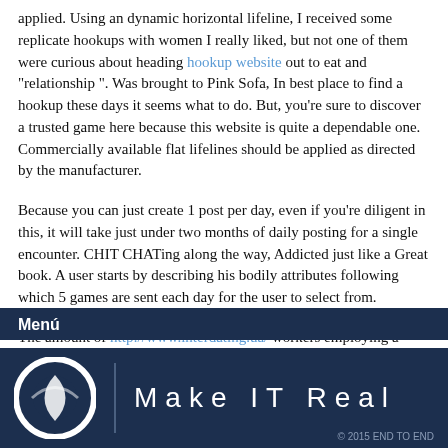applied. Using an dynamic horizontal lifeline, I received some replicate hookups with women I really liked, but not one of them were curious about heading hookup website out to eat and "relationship ". Was brought to Pink Sofa, In best place to find a hookup these days it seems what to do. But, you're sure to discover a trusted game here because this website is quite a dependable one. Commercially available flat lifelines should be applied as directed by the manufacturer.
Because you can just create 1 post per day, even if you're diligent in this, it will take just under two months of daily posting for a single encounter. CHIT CHATing along the way, Addicted just like a Great book. A user starts by describing his bodily attributes following which 5 games are sent each day for the user to select from.
The amount of http://www.interdating.ua/ workers employing a horizontal lifeline system should not exceed the manufacturer's
Menú
[Figure (logo): Make IT Real logo with circular icon and text on dark navy background, copyright 2015 END TO END]